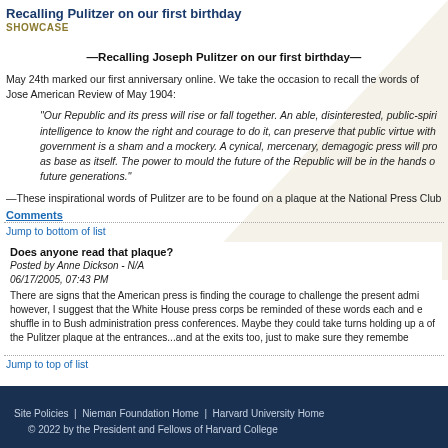Recalling Pulitzer on our first birthday
SHOWCASE
—Recalling Joseph Pulitzer on our first birthday—
May 24th marked our first anniversary online. We take the occasion to recall the words of Joseph Pulitzer in the North American Review of May 1904:
"Our Republic and its press will rise or fall together. An able, disinterested, public-spirited press, with trained intelligence to know the right and courage to do it, can preserve that public virtue without which popular government is a sham and a mockery. A cynical, mercenary, demagogic press will produce in time a people as base as itself. The power to mould the future of the Republic will be in the hands of the journalists of future generations."
—These inspirational words of Pulitzer are to be found on a plaque at the National Press Club
Comments
Jump to bottom of list
Does anyone read that plaque?
Posted by Anne Dickson - N/A
06/17/2005, 07:43 PM
There are signs that the American press is finding the courage to challenge the present administration; however, I suggest that the White House press corps be reminded of these words each and every time they shuffle in to Bush administration press conferences. Maybe they could take turns holding up a copy of the Pulitzer plaque at the entrances...and at the exits too, just to make sure they remember.
Jump to top of list
Site Policies  |  Nieman Foundation Home  |  Harvard University Home
© 2022 by the President and Fellows of Harvard College